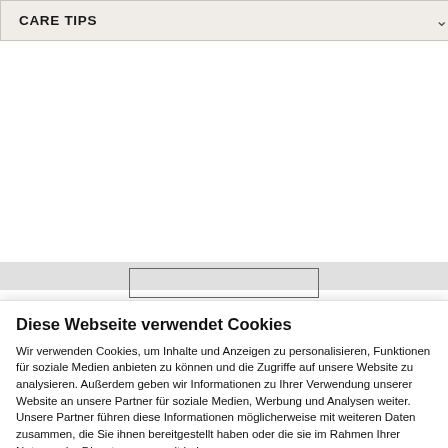CARE TIPS
Diese Webseite verwendet Cookies
Wir verwenden Cookies, um Inhalte und Anzeigen zu personalisieren, Funktionen für soziale Medien anbieten zu können und die Zugriffe auf unsere Website zu analysieren. Außerdem geben wir Informationen zu Ihrer Verwendung unserer Website an unsere Partner für soziale Medien, Werbung und Analysen weiter. Unsere Partner führen diese Informationen möglicherweise mit weiteren Daten zusammen, die Sie ihnen bereitgestellt haben oder die sie im Rahmen Ihrer Nutzung der Dienste gesammelt haben.
Cookies zulassen
Auswahl erlauben
Nur notwendige Cookies
Notwendig  Präferenzen  Statistiken  Marketing  Details zeigen